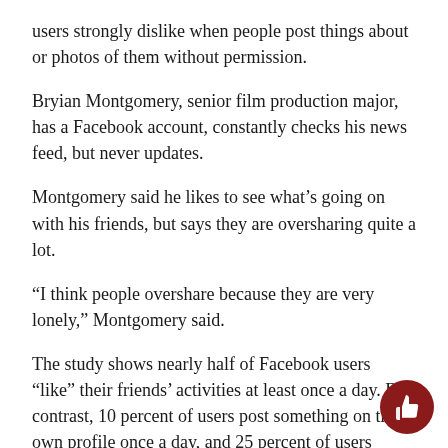users strongly dislike when people post things about or photos of them without permission.
Bryian Montgomery, senior film production major, has a Facebook account, constantly checks his news feed, but never updates.
Montgomery said he likes to see what’s going on with his friends, but says they are oversharing quite a lot.
“I think people overshare because they are very lonely,” Montgomery said.
The study shows nearly half of Facebook users “like” their friends’ activities at least once a day. By contrast, 10 percent of users post something on their own profile once a day, and 25 percent of users never update anything at all.
“I go on the sorority group page more often than